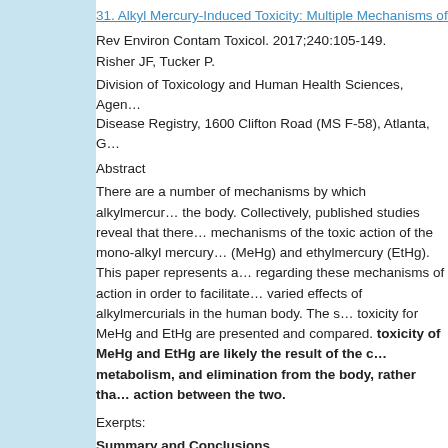31. Alkyl Mercury-Induced Toxicity: Multiple Mechanisms of A…
Rev Environ Contam Toxicol. 2017;240:105-149.
Risher JF, Tucker P.
Division of Toxicology and Human Health Sciences, Agen… Disease Registry, 1600 Clifton Road (MS F-58), Atlanta, G…
Abstract
There are a number of mechanisms by which alkylmercur… the body. Collectively, published studies reveal that there… mechanisms of the toxic action of the mono-alkyl mercury… (MeHg) and ethylmercury (EtHg). This paper represents a… regarding these mechanisms of action in order to facilitate… varied effects of alkylmercurials in the human body. The s… toxicity for MeHg and EtHg are presented and compared. toxicity of MeHg and EtHg are likely the result of the c… metabolism, and elimination from the body, rather tha… action between the two.
Exerpts:
Summary and Conclusions